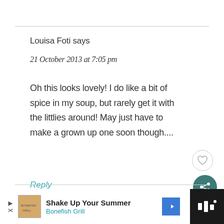Louisa Foti says
21 October 2013 at 7:05 pm
Oh this looks lovely! I do like a bit of spice in my soup, but rarely get it with the littlies around! May just have to make a grown up one soon though....
Reply
[Figure (screenshot): Heart (like) button - circular outline button with heart icon]
[Figure (screenshot): Share button - teal circular button with share/network icon]
[Figure (screenshot): What's Next banner with soup image thumbnail: 'Red Pepper and Sundrie...']
[Figure (screenshot): Advertisement bar: Shake Up Your Summer - Bonefish Grill]